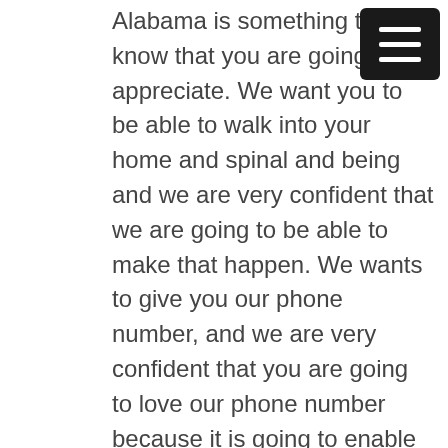Alabama is something that we know that you are going to appreciate. We want you to be able to walk into your home and spinal and being and we are very confident that we are going to be able to make that happen. We wants to give you our phone number, and we are very confident that you are going to love our phone number because it is going to enable you to speak to an amazing representative. Our representatives are fantastic and their customer service is top-notch.
We are transparent, and we want make sure that you understand that giving us a call is a good way to find out exactly the nature of our